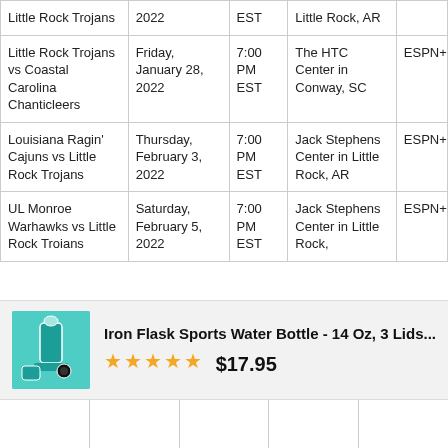| Game | Date | Time | Venue | TV |
| --- | --- | --- | --- | --- |
| Little Rock Trojans | 2022 | EST | Little Rock, AR |  |
| Little Rock Trojans vs Coastal Carolina Chanticleers | Friday, January 28, 2022 | 7:00 PM EST | The HTC Center in Conway, SC | ESPN+ |
| Louisiana Ragin' Cajuns vs Little Rock Trojans | Thursday, February 3, 2022 | 7:00 PM EST | Jack Stephens Center in Little Rock, AR | ESPN+ |
| UL Monroe Warhawks vs Little Rock Troians | Saturday, February 5, 2022 | 7:00 PM EST | Jack Stephens Center in Little Rock, | ESPN+ |
[Figure (other): Advertisement for Iron Flask Sports Water Bottle - 14 Oz, 3 Lids... showing product image, 5-star rating, and price $17.95]